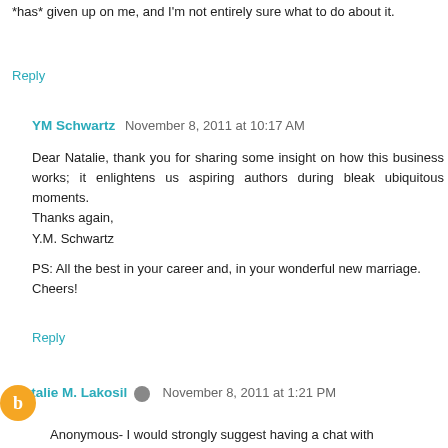*has* given up on me, and I'm not entirely sure what to do about it.
Reply
YM Schwartz  November 8, 2011 at 10:17 AM
Dear Natalie, thank you for sharing some insight on how this business works; it enlightens us aspiring authors during bleak ubiquitous moments.
Thanks again,
Y.M. Schwartz

PS: All the best in your career and, in your wonderful new marriage.
Cheers!
Reply
Natalie M. Lakosil  November 8, 2011 at 1:21 PM
Anonymous- I would strongly suggest having a chat with